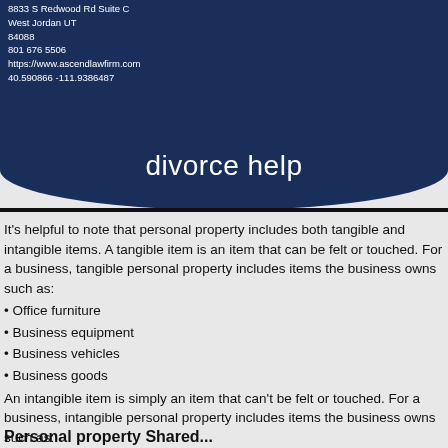8833 S Redwood Rd Suite C
West Jordan UT
84088
801 676 5506
https://www.ascendlawfirm.com
40.590866 -111.9386487
divorce help
It's helpful to note that personal property includes both tangible and intangible items. A tangible item is an item that can be felt or touched. For a business, tangible personal property includes items the business owns such as:
• Office furniture
• Business equipment
• Business vehicles
• Business goods
An intangible item is simply an item that can't be felt or touched. For a business, intangible personal property includes items the business owns such as:
• Stocks
• Bonds
• Intellectual property
• Money
Personal property Shared...